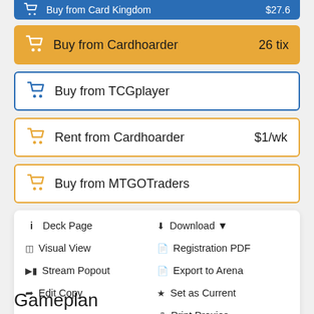Buy from Card Kingdom  $27.6
Buy from Cardhoarder  26 tix
Buy from TCGplayer
Rent from Cardhoarder  $1/wk
Buy from MTGOTraders
Deck Page
Download
Visual View
Registration PDF
Stream Popout
Export to Arena
Edit Copy
Set as Current
Print Proxies
Gameplan